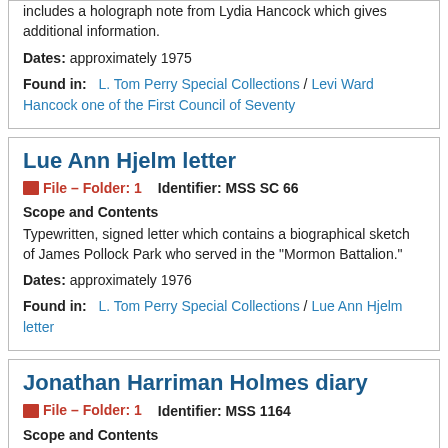includes a holograph note from Lydia Hancock which gives additional information.
Dates: approximately 1975
Found in: L. Tom Perry Special Collections / Levi Ward Hancock one of the First Council of Seventy
Lue Ann Hjelm letter
File – Folder: 1   Identifier: MSS SC 66
Scope and Contents
Typewritten, signed letter which contains a biographical sketch of James Pollock Park who served in the "Mormon Battalion."
Dates: approximately 1976
Found in: L. Tom Perry Special Collections / Lue Ann Hjelm letter
Jonathan Harriman Holmes diary
File – Folder: 1   Identifier: MSS 1164
Scope and Contents